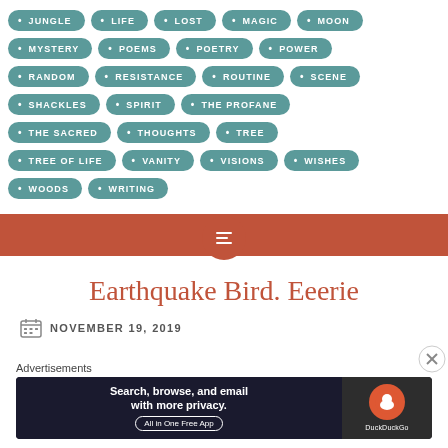JUNGLE
LIFE
LOST
MAGIC
MOON
MYSTERY
POEMS
POETRY
POWER
RANDOM
RESISTANCE
ROUTINE
SCENE
SHACKLES
SPIRIT
THE PROFANE
THE SACRED
THOUGHTS
TREE
TREE OF LIFE
VANITY
VISIONS
WISHES
WOODS
WRITING
[Figure (other): Decorative section divider with hamburger menu icon in a rust/terracotta circle]
Earthquake Bird. Eeerie
NOVEMBER 19, 2019
Advertisements
[Figure (screenshot): DuckDuckGo advertisement banner: Search, browse, and email with more privacy. All in One Free App. DuckDuckGo logo on dark background.]